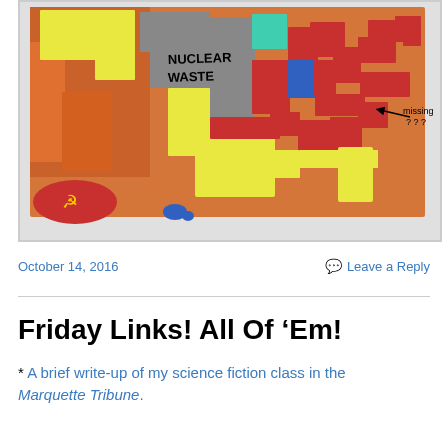[Figure (map): Colorful map of the United States with states colored in red, yellow, gray (labeled NUCLEAR WASTE), blue, teal/green, and orange. Alaska shown in red with a hammer and sickle symbol. Hawaii shown in blue. An arrow points to South Carolina region labeled 'missing ???'.]
October 14, 2016
Leave a Reply
Friday Links! All Of ‘Em!
* A brief write-up of my science fiction class in the Marquette Tribune.